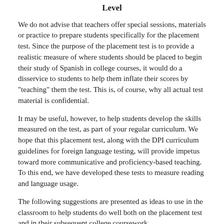Level
We do not advise that teachers offer special sessions, materials or practice to prepare students specifically for the placement test. Since the purpose of the placement test is to provide a realistic measure of where students should be placed to begin their study of Spanish in college courses, it would do a disservice to students to help them inflate their scores by “teaching” them the test. This is, of course, why all actual test material is confidential.
It may be useful, however, to help students develop the skills measured on the test, as part of your regular curriculum. We hope that this placement test, along with the DPI curriculum guidelines for foreign language testing, will provide impetus toward more communicative and proficiency-based teaching. To this end, we have developed these tests to measure reading and language usage.
The following suggestions are presented as ideas to use in the classroom to help students do well both on the placement test and in their subsequent college coursework.